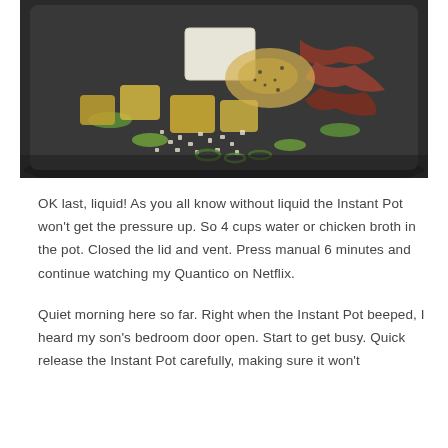[Figure (photo): Photo of food ingredients inside an Instant Pot — visible are chunks of potato, celery, cream cheese block, crumbled bacon, corn, spices/seasoning powders, and other vegetables in a dark pot.]
OK last, liquid! As you all know without liquid the Instant Pot won't get the pressure up. So 4 cups water or chicken broth in the pot. Closed the lid and vent. Press manual 6 minutes and continue watching my Quantico on Netflix.
Quiet morning here so far. Right when the Instant Pot beeped, I heard my son's bedroom door open. Start to get busy. Quick release the Instant Pot carefully, making sure it won't